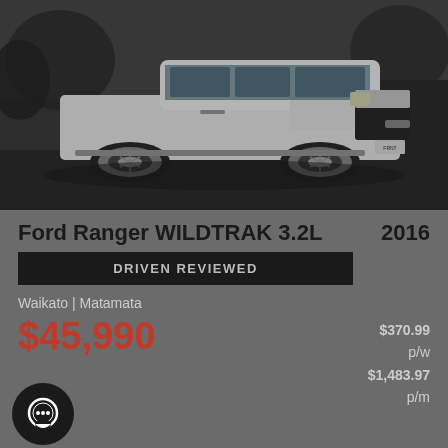[Figure (photo): Front view of a white Ford Ranger WILDTRAK 3.2L 2016 parked on a dark road]
Ford Ranger WILDTRAK 3.2L   2016
DRIVEN REVIEWED
Waikato | Matamata
$45,990
$370.99 p/w $1,483.97 p/m
91,884km   Automatic   Diesel